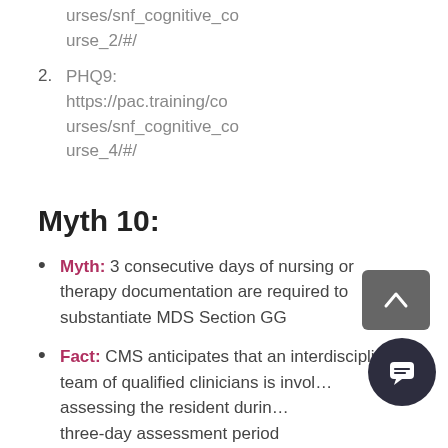urses/snf_cognitive_course_2/#/
2. PHQ9: https://pac.training/courses/snf_cognitive_course_4/#/
Myth 10:
Myth: 3 consecutive days of nursing or therapy documentation are required to substantiate MDS Section GG
Fact: CMS anticipates that an interdisciplinary team of qualified clinicians is involved assessing the resident during the three-day assessment period